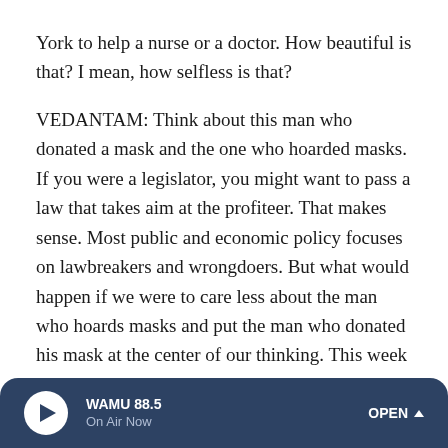York to help a nurse or a doctor. How beautiful is that? I mean, how selfless is that?
VEDANTAM: Think about this man who donated a mask and the one who hoarded masks. If you were a legislator, you might want to pass a law that takes aim at the profiteer. That makes sense. Most public and economic policy focuses on lawbreakers and wrongdoers. But what would happen if we were to care less about the man who hoards masks and put the man who donated his mask at the center of our thinking. This week on HIDDEN BRAIN, do the measures we put in place to curtail the selfish have perverse consequences on the rest of us?
WAMU 88.5 | On Air Now | OPEN